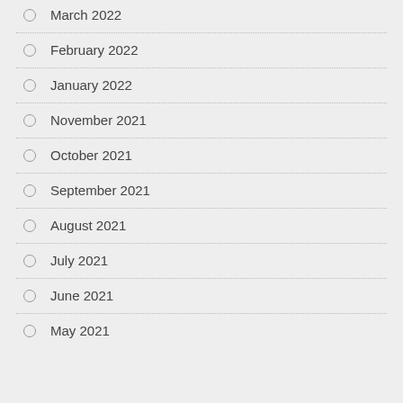March 2022
February 2022
January 2022
November 2021
October 2021
September 2021
August 2021
July 2021
June 2021
May 2021